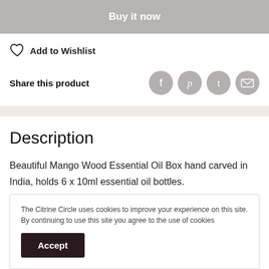Buy it now
Add to Wishlist
Share this product
Description
Beautiful Mango Wood Essential Oil Box hand carved in India, holds 6 x 10ml essential oil bottles.
The Citrine Circle uses cookies to improve your experience on this site. By continuing to use this site you agree to the use of cookies
Accept